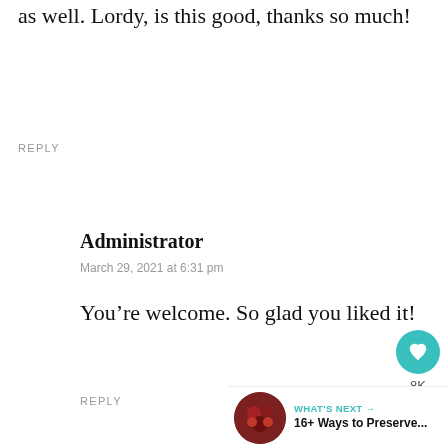as well. Lordy, is this good, thanks so much!
REPLY
Administrator
March 29, 2021 at 6:31 pm
You’re welcome. So glad you liked it!
REPLY